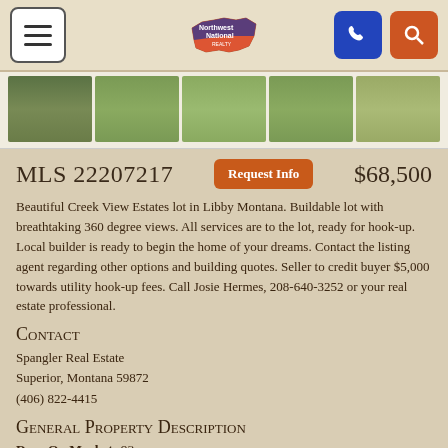Northwest National Realty - navigation bar
[Figure (photo): Strip of 5 property thumbnail photos showing green fields/land views]
MLS 22207217   Request Info   $68,500
Beautiful Creek View Estates lot in Libby Montana. Buildable lot with breathtaking 360 degree views. All services are to the lot, ready for hook-up. Local builder is ready to begin the home of your dreams. Contact the listing agent regarding other options and building quotes. Seller to credit buyer $5,000 towards utility hook-up fees. Call Josie Hermes, 208-640-3252 or your real estate professional.
Contact
Spangler Real Estate
Superior, Montana 59872
(406) 822-4415
General Property Description
Days On Market: 93